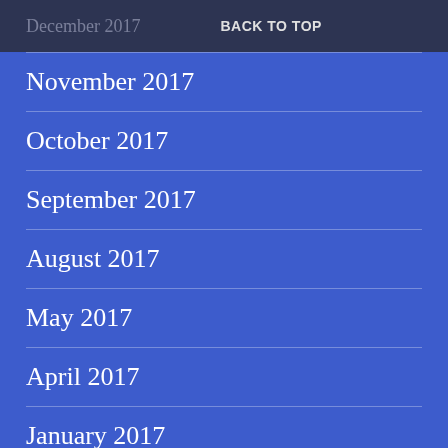December 2017   BACK TO TOP
November 2017
October 2017
September 2017
August 2017
May 2017
April 2017
January 2017
December 2016